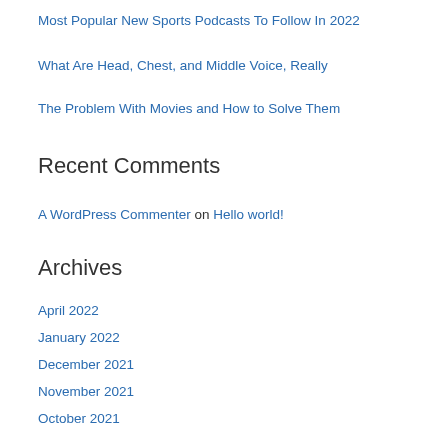Most Popular New Sports Podcasts To Follow In 2022
What Are Head, Chest, and Middle Voice, Really
The Problem With Movies and How to Solve Them
Recent Comments
A WordPress Commenter on Hello world!
Archives
April 2022
January 2022
December 2021
November 2021
October 2021